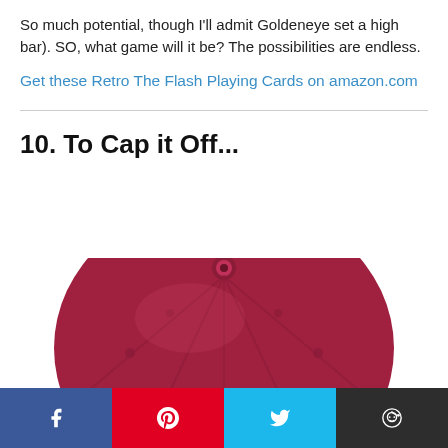So much potential, though I'll admit Goldeneye set a high bar). SO, what game will it be? The possibilities are endless.
Get these Retro The Flash Playing Cards on amazon.com
10. To Cap it Off...
[Figure (photo): A dark red/maroon Flash-branded snapback cap viewed from behind/above, showing the Flash logo lightning bolt emblem on the back panel.]
[Figure (infographic): Social sharing bar with Facebook, Pinterest, Twitter, and Reddit buttons.]